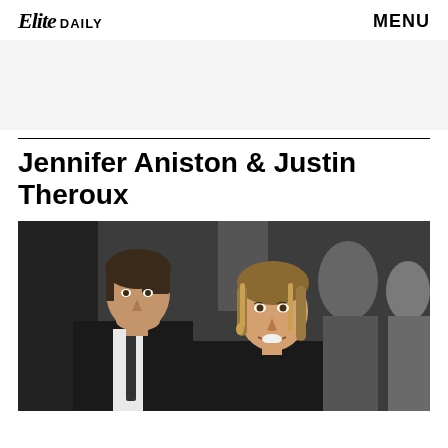Elite DAILY  MENU
[Figure (other): Advertisement banner placeholder, light gray background]
Jennifer Aniston & Justin Theroux
[Figure (photo): Photo of Jennifer Aniston and Justin Theroux at an event, posed together, black and white formal attire, other people visible in background]